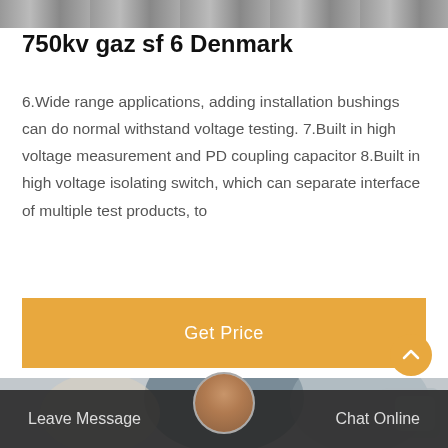[Figure (photo): Top portion of a photograph showing industrial or electrical equipment, gray tones]
750kv gaz sf 6 Denmark
6.Wide range applications, adding installation bushings can do normal withstand voltage testing. 7.Built in high voltage measurement and PD coupling capacitor 8.Built in high voltage isolating switch, which can separate interface of multiple test products, to
[Figure (other): Orange 'Get Price' button]
[Figure (photo): Photo of a worker in blue clothing working on electrical or industrial equipment]
Leave Message   Chat Online